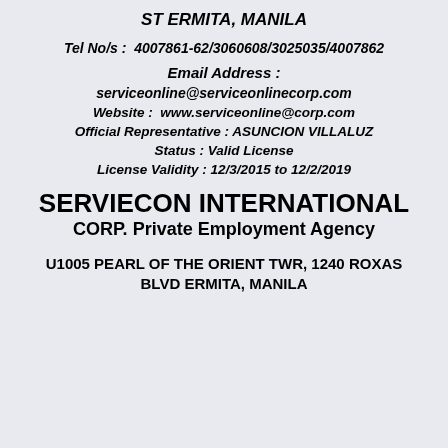ST ERMITA, MANILA
Tel No/s :  4007861-62/3060608/3025035/4007862
Email Address :
serviceonline@serviceonlinecorp.com
Website :  www.serviceonline@corp.com
Official Representative : ASUNCION VILLALUZ
Status : Valid License
License Validity : 12/3/2015 to 12/2/2019
SERVIECON INTERNATIONAL CORP. Private Employment Agency
U1005 PEARL OF THE ORIENT TWR, 1240 ROXAS BLVD ERMITA, MANILA